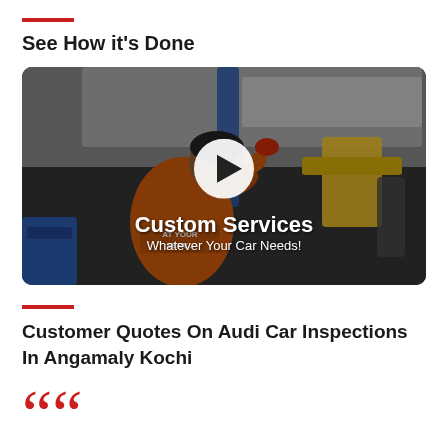See How it's Done
[Figure (photo): A mechanic in an orange uniform with 'AT YOUR SERVICE' text on back, working under a car on a lift in an auto service shop. A play button overlay is shown in the center.]
Custom Services
Whatever Your Car Needs!
Customer Quotes On Audi Car Inspections In Angamaly Kochi
““